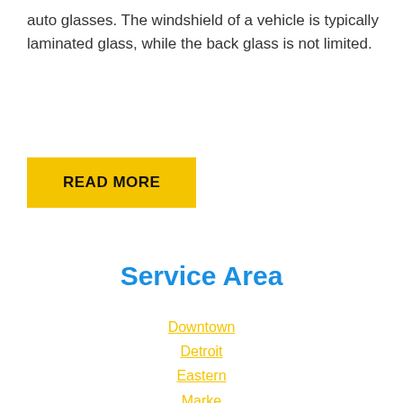auto glasses. The windshield of a vehicle is typically laminated glass, while the back glass is not limited.
READ MORE
Service Area
Downtown
Detroit
Eastern
Marke
Greektown
Mexicantown–Southwest Detroit
Michigan Martin